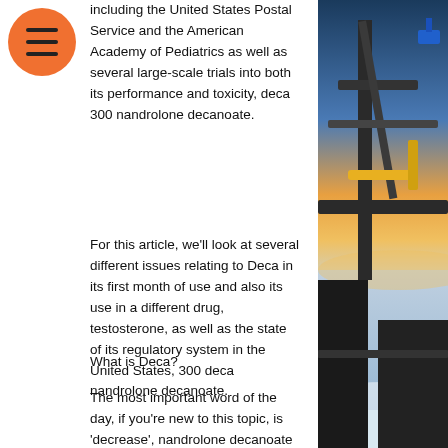[Figure (other): Orange circular hamburger menu button with three horizontal lines]
including the United States Postal Service and the American Academy of Pediatrics as well as several large-scale trials into both its performance and toxicity, deca 300 nandrolone decanoate.
For this article, we'll look at several different issues relating to Deca in its first month of use and also its use in a different drug, testosterone, as well as the state of its regulatory system in the United States, 300 deca nandrolone decanoate.
What is Deca?
The most important word of the day, if you're new to this topic, is 'decrease', nandrolone decanoate 250 mg. The first thing you should realize is that we all know that what happens to an animal's body and/or brain depends (a) on what the animal was exposed to and (b)
[Figure (photo): A photo on the right side of the page showing industrial/marine equipment (crane/boom) on a boat against a sunset sky over water]